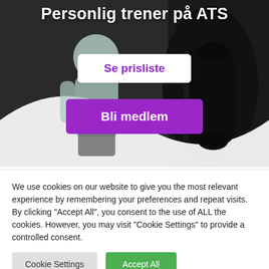[Figure (photo): Gym background photo showing a person in workout clothes with weights/dumbbells in a dark gym setting]
Personlig trener på ATS
Se prisliste
Bli medlem
We use cookies on our website to give you the most relevant experience by remembering your preferences and repeat visits. By clicking "Accept All", you consent to the use of ALL the cookies. However, you may visit "Cookie Settings" to provide a controlled consent.
Cookie Settings
Accept All